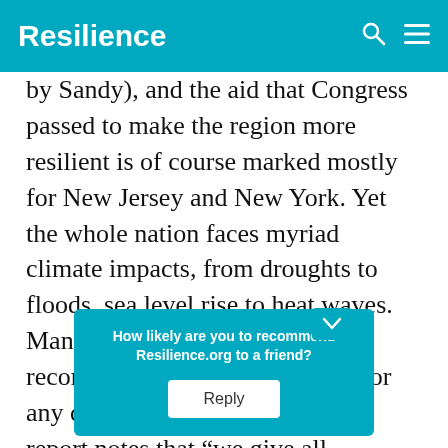Resilience
by Sandy), and the aid that Congress passed to make the region more resilient is of course marked mostly for New Jersey and New York. Yet the whole nation faces myriad climate impacts, from droughts to floods, sea level rise to heat waves. Many of the report's recommendations can be useful for any community, and indeed, the report notes that “we give all co…unities the too… when we re… d
How likely are you to recommend Resilience.org to a friend?
Reply